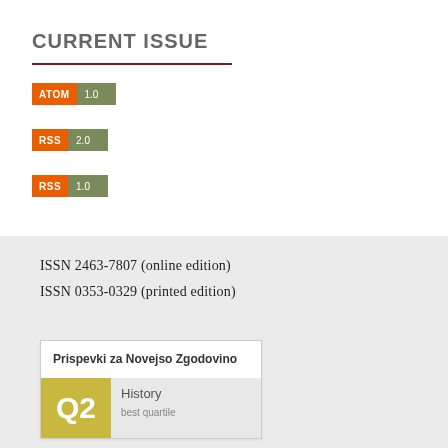CURRENT ISSUE
[Figure (other): ATOM 1.0 feed badge]
[Figure (other): RSS 2.0 feed badge]
[Figure (other): RSS 1.0 feed badge]
ISSN 2463-7807 (online edition)
ISSN 0353-0329 (printed edition)
[Figure (other): Journal card for Prispevki za Novejso Zgodovino showing Q2 quartile badge in History category]